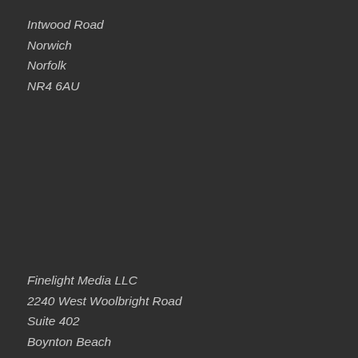Intwood Road
Norwich
Norfolk
NR4 6AU
Finelight Media LLC
2240 West Woolbright Road
Suite 402
Boynton Beach
FL 33426